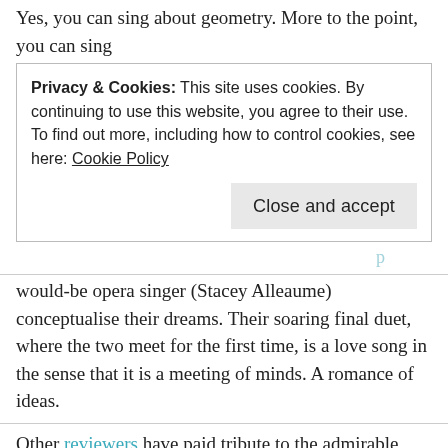Yes, you can sing about geometry. More to the point, you can sing
Privacy & Cookies: This site uses cookies. By continuing to use this website, you agree to their use.
To find out more, including how to control cookies, see here: Cookie Policy
Close and accept
would-be opera singer (Stacey Alleaume) conceptualise their dreams. Their soaring final duet, where the two meet for the first time, is a love song in the sense that it is a meeting of minds. A romance of ideas.
Other reviewers have paid tribute to the admirable cast and creative crew. Yep. What they said. Stacey Alleaume is a feisty heroine with a glorious voice, Adam Frandsen makes this physically, musically and dramatically difficult role into a wonderfully cohesive whole, and the myriad supporting cast — I particularly loved Martin Buckingham as Cahill and David Parkin as Alexandra's barbecuing father — sang and acted their socks off. Meanwhile, the orchestra, safely locked up in the Studio with